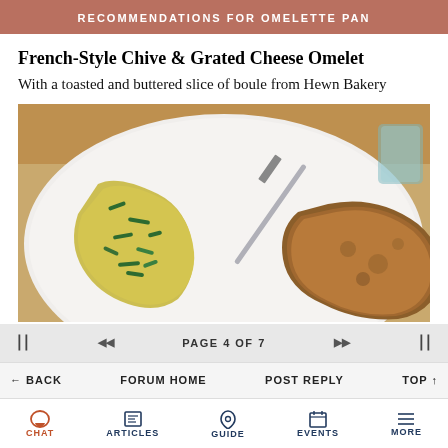RECOMMENDATIONS FOR OMELETTE PAN
French-Style Chive & Grated Cheese Omelet
With a toasted and buttered slice of boule from Hewn Bakery
[Figure (photo): A French-style chive and grated cheese omelet on a white plate alongside a toasted and buttered slice of boule bread, with a knife and glass visible in the background.]
PAGE 4 OF 7
BACK   FORUM HOME   POST REPLY   TOP
CHAT   ARTICLES   GUIDE   EVENTS   MORE